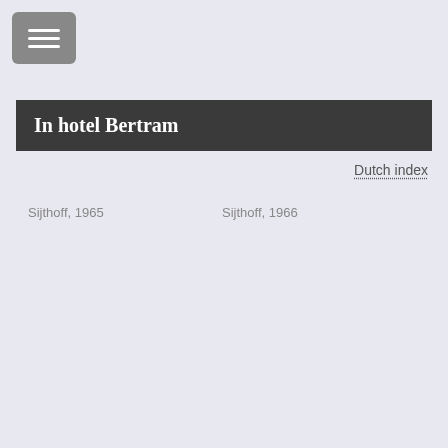[Figure (other): Hamburger menu button icon with three horizontal white lines on a gray rounded square background]
In hotel Bertram
Dutch index
Sijthoff, 1965
Sijthoff, 1966